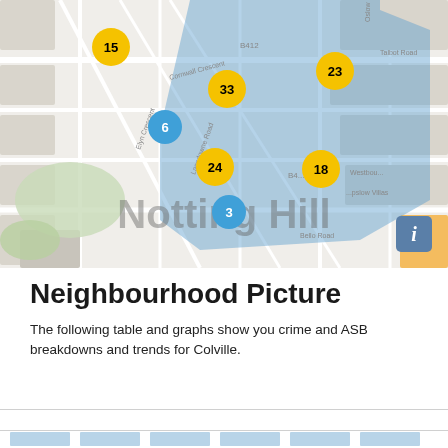[Figure (map): Street map of Notting Hill neighbourhood (Colville area) with a blue highlighted zone and several numbered cluster markers: 15 (yellow), 33 (yellow), 23 (yellow), 6 (blue), 24 (yellow), 18 (yellow), 3 (blue). An info button is in the bottom-right corner.]
Neighbourhood Picture
The following table and graphs show you crime and ASB breakdowns and trends for Colville.